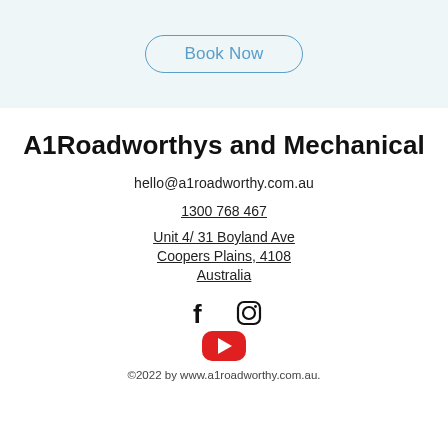[Figure (screenshot): Top section with light blue background and 'Book Now' button with rounded border in blue]
A1Roadworthys and Mechanical
hello@a1roadworthy.com.au
1300 768 467
Unit 4/ 31 Boyland Ave
Coopers Plains, 4108
Australia
[Figure (illustration): Social media icons: Facebook (f), Instagram, and YouTube (red play button)]
©2022 by www.a1roadworthy.com.au.